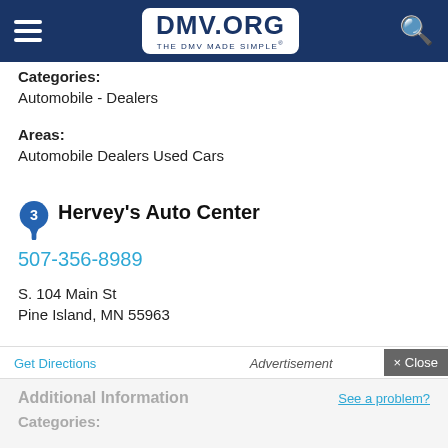DMV.ORG - THE DMV MADE SIMPLE
Categories:
Automobile - Dealers
Areas:
Automobile Dealers Used Cars
3 Hervey's Auto Center
507-356-8989
S. 104 Main St
Pine Island, MN 55963
Get Directions
Advertisement
× Close
Additional Information
See a problem?
Categories: